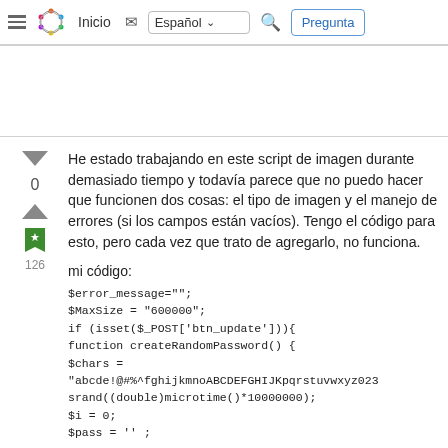Inicio | Español | Pregunta
He estado trabajando en este script de imagen durante demasiado tiempo y todavía parece que no puedo hacer que funcionen dos cosas: el tipo de imagen y el manejo de errores (si los campos están vacíos). Tengo el código para esto, pero cada vez que trato de agregarlo, no funciona.
mi código:
$error_message="";
$MaxSize = "600000";
if (isset($_POST['btn_update'])){
function createRandomPassword() {
$chars = "abcde!@#%^fghijkmnoABCDEFGHIJKpqrstuvwxyz023
srand((double)microtime()*10000000);
$i = 0;
$pass = '' ;